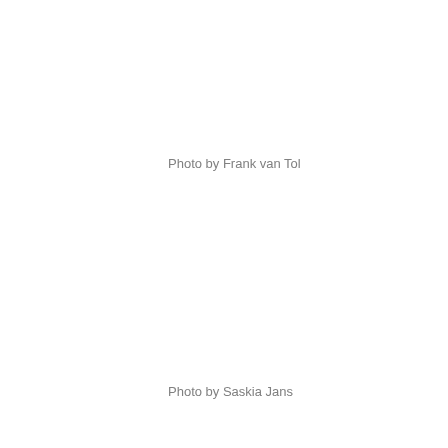Photo by Frank van Tol
Photo by Saskia Jans